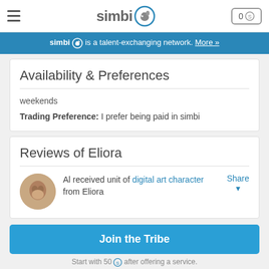simbi 0S
simbi is a talent-exchanging network. More »
Availability & Preferences
weekends
Trading Preference: I prefer being paid in simbi
Reviews of Eliora
Al received unit of digital art character from Eliora
Share
Join the Tribe
Start with 50 S after offering a service.